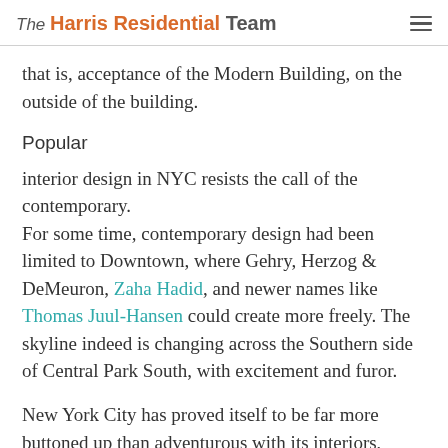The Harris Residential Team
that is, acceptance of the Modern Building, on the outside of the building.
Popular
interior design in NYC resists the call of the contemporary.
For some time, contemporary design had been limited to Downtown, where Gehry, Herzog & DeMeuron, Zaha Hadid, and newer names like Thomas Juul-Hansen could create more freely. The skyline indeed is changing across the Southern side of Central Park South, with excitement and furor.
New York City has proved itself to be far more buttoned up than adventurous with its interiors,